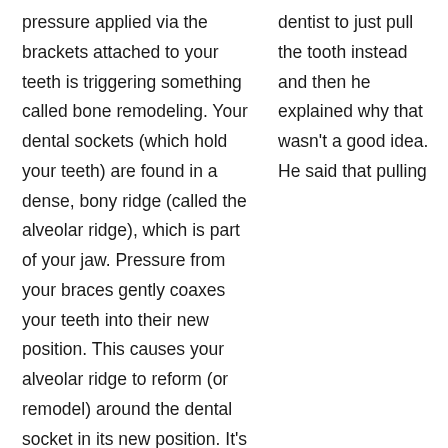pressure applied via the brackets attached to your teeth is triggering something called bone remodeling. Your dental sockets (which hold your teeth) are found in a dense, bony ridge (called the alveolar ridge), which is part of your jaw. Pressure from your braces gently coaxes your teeth into their new position. This causes your alveolar ridge to reform (or remodel) around the dental socket in its new position. It's an ongoing process, which continues throughout your braces treatment. Remember that this movement is normal, necessary, and is not your teeth becoming loose.
dentist to just pull the tooth instead and then he explained why that wasn't a good idea. He said that pulling